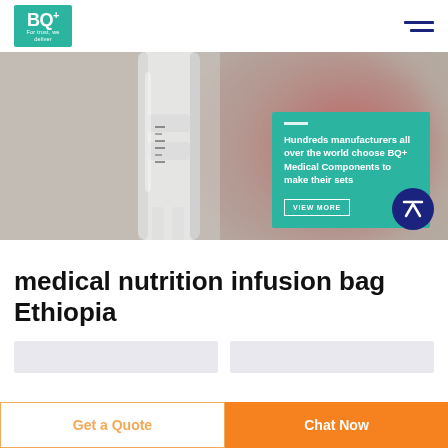[Figure (logo): BQ+ Medical logo — teal green square with BQ+ text and tagline 'For trust, we deliver']
[Figure (photo): Close-up blurred photo of medical IV infusion tubing/bag, white cylindrical component with measurement markings, red blurred background]
Hundreds manufacturers all over the world choose BQ+ Medical Components to make their sets
[Figure (other): VIEW MORE button inside teal hero card]
medical nutrition infusion bag Ethiopia
[Figure (other): Two grey form input fields side by side]
Get a Quote
Chat Now